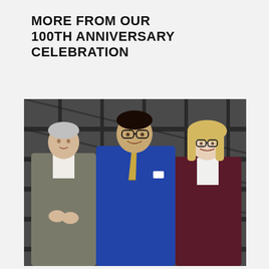MORE FROM OUR 100TH ANNIVERSARY CELEBRATION
[Figure (photo): Three people posing for a photo in front of industrial metal shelving. Left: older man in gray houndstooth jacket. Center: younger man in blue suit with striped tie and glasses. Right: young woman with blonde hair in maroon blazer and glasses.]